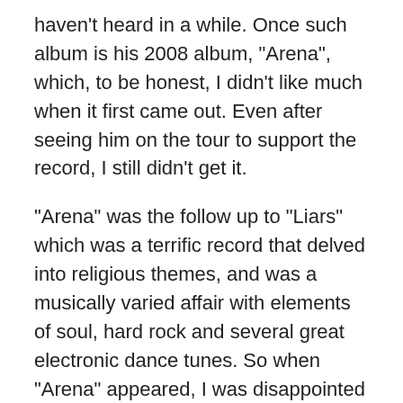haven't heard in a while. Once such album is his 2008 album, "Arena", which, to be honest, I didn't like much when it first came out. Even after seeing him on the tour to support the record, I still didn't get it.
"Arena" was the follow up to "Liars" which was a terrific record that delved into religious themes, and was a musically varied affair with elements of soul, hard rock and several great electronic dance tunes. So when "Arena" appeared, I was disappointed with the simplicity of sound within. But sometimes, you play a record again, and it hits you the right way after the passage of time, and that's what happened to me with "Arena."
The record came about after Todd toured arenas around the world as a member of The New Cars. While becoming the lead singer for The Cars may not have been his best